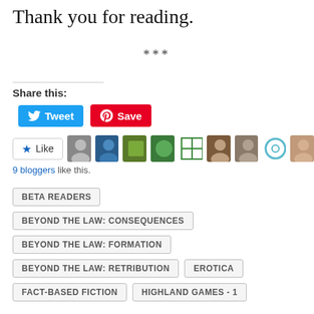Thank you for reading.
***
Share this:
[Figure (other): Tweet and Save (Pinterest) share buttons]
[Figure (other): Like button with 9 blogger avatars]
9 bloggers like this.
BETA READERS
BEYOND THE LAW: CONSEQUENCES
BEYOND THE LAW: FORMATION
BEYOND THE LAW: RETRIBUTION
EROTICA
FACT-BASED FICTION
HIGHLAND GAMES - 1